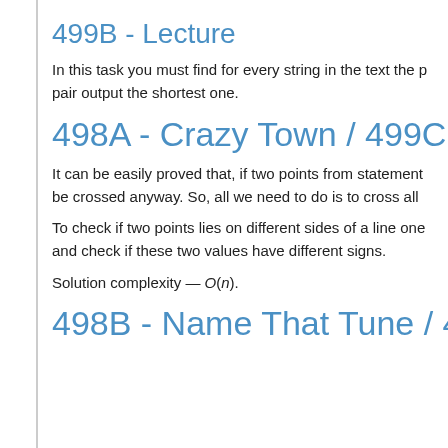499B - Lecture
In this task you must find for every string in the text the p pair output the shortest one.
498A - Crazy Town / 499C -
It can be easily proved that, if two points from statement be crossed anyway. So, all we need to do is to cross all
To check if two points lies on different sides of a line one and check if these two values have different signs.
Solution complexity — O(n).
498B - Name That Tune / 49